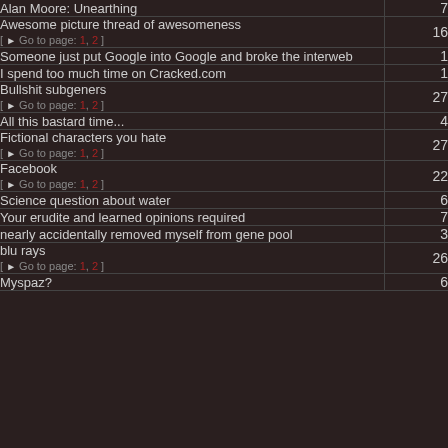| Topic | Replies |
| --- | --- |
| Alan Moore: Unearthing | 7 |
| Awesome picture thread of awesomeness [ Go to page: 1, 2 ] | 16 |
| Someone just put Google into Google and broke the interweb | 1 |
| I spend too much time on Cracked.com | 1 |
| Bullshit subgeners [ Go to page: 1, 2 ] | 27 |
| All this bastard time... | 4 |
| Fictional characters you hate [ Go to page: 1, 2 ] | 27 |
| Facebook [ Go to page: 1, 2 ] | 22 |
| Science question about water | 6 |
| Your erudite and learned opinions required | 7 |
| nearly accidentally removed myself from gene pool | 3 |
| blu rays [ Go to page: 1, 2 ] | 26 |
| Myspaz? | 6 |